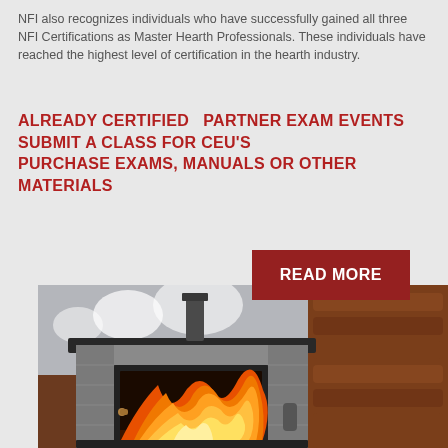NFI also recognizes individuals who have successfully gained all three NFI Certifications as Master Hearth Professionals. These individuals have reached the highest level of certification in the hearth industry.
ALREADY CERTIFIED   PARTNER EXAM EVENTS SUBMIT A CLASS FOR CEU's PURCHASE EXAMS, MANUALS OR OTHER MATERIALS
READ MORE
[Figure (photo): Wood burning stove with visible fire through glass door, set against a log cabin interior with brick background and snowy window.]